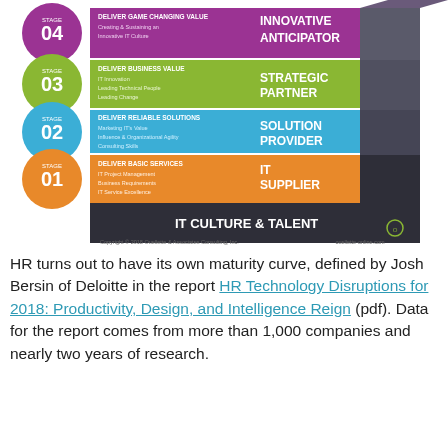[Figure (infographic): IT leadership maturity model staircase diagram with 4 stages: Stage 01 IT Supplier (orange, Deliver Basic Services: IT Project Management, Business Requirements, IT Service Excellence), Stage 02 Solution Provider (blue, Deliver Reliable Solutions: Marketing IT's Value, Influence & Organizational Agility, Consulting Skills), Stage 03 Strategic Partner (green, Deliver Business Value: IT Innovation, Leading Technical People, Leading Change), Stage 04 Innovative Anticipator (purple, Deliver Game Changing Value: Creating & Sustaining an Innovative IT Culture). Bottom bar: IT Culture & Talent. Copyright 2018 Ouellette & Associates Consulting, Inc. ouellette-online.com]
HR turns out to have its own maturity curve, defined by Josh Bersin of Deloitte in the report HR Technology Disruptions for 2018: Productivity, Design, and Intelligence Reign (pdf). Data for the report comes from more than 1,000 companies and nearly two years of research.